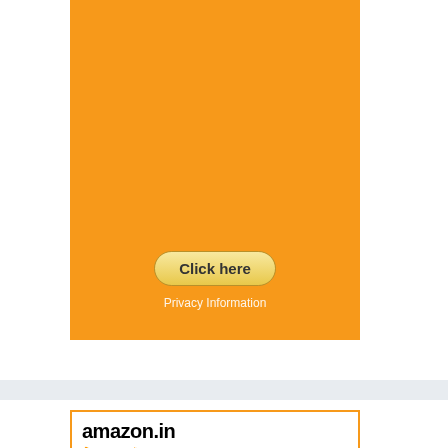[Figure (other): Amazon orange advertisement banner with a 'Click here' button and 'Privacy Information' text below it]
[Figure (other): Amazon.in product advertisement for U.P.C. Upgraded Hands-Free mop with bucket, priced at INR 1,389.00, with orange border]